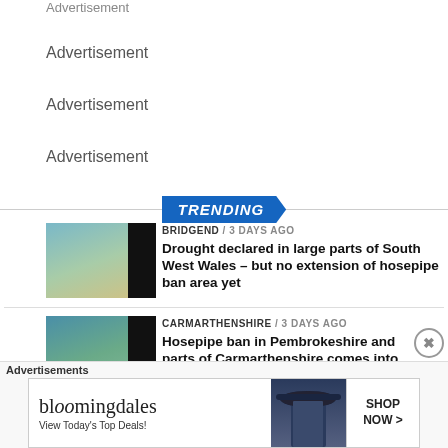Advertisement
Advertisement
Advertisement
Advertisement
TRENDING
[Figure (photo): Aerial/landscape photo of a beach and hills area, South West Wales]
BRIDGEND / 3 days ago
Drought declared in large parts of South West Wales – but no extension of hosepipe ban area yet
[Figure (photo): Aerial/landscape photo of a river estuary or coastal area, Carmarthenshire]
CARMARTHENSHIRE / 3 days ago
Hosepipe ban in Pembrokeshire and parts of Carmarthenshire comes into
[Figure (screenshot): Bloomingdales advertisement banner: 'View Today's Top Deals!' with SHOP NOW button and woman in hat image]